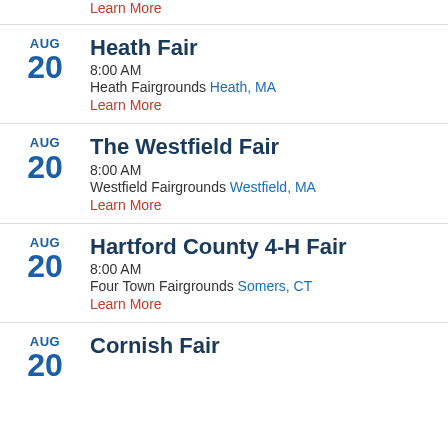Learn More
AUG 20 Heath Fair 8:00 AM Heath Fairgrounds Heath, MA Learn More
AUG 20 The Westfield Fair 8:00 AM Westfield Fairgrounds Westfield, MA Learn More
AUG 20 Hartford County 4-H Fair 8:00 AM Four Town Fairgrounds Somers, CT Learn More
AUG 20 Cornish Fair